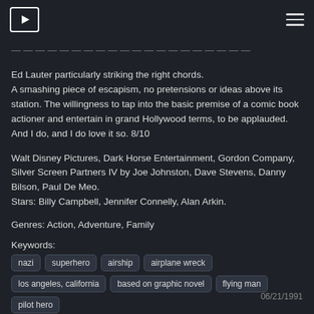[TV/streaming logo] [hamburger menu]
Ed Lauter particularly striking the right chords.
A smashing piece of escapism, no pretensions or ideas above its station. The willingness to tap into the basic premise of a comic book actioner and entertain in grand Hollywood terms, to be applauded. And I do, and I do love it so. 8/10
Walt Disney Pictures, Dark Horse Entertainment, Gordon Company, Silver Screen Partners IV by Joe Johnston, Dave Stevens, Danny Bilson, Paul De Meo.
Stars: Billy Campbell, Jennifer Connelly, Alan Arkin.
Genres: Action, Adventure, Family
Keywords: nazi  superhero  airship  airplane wreck  los angeles, california  based on graphic novel  flying man  pilot hero  nazi collaborationism  1930s  howard hughes  griffith observatory
06/21/1991